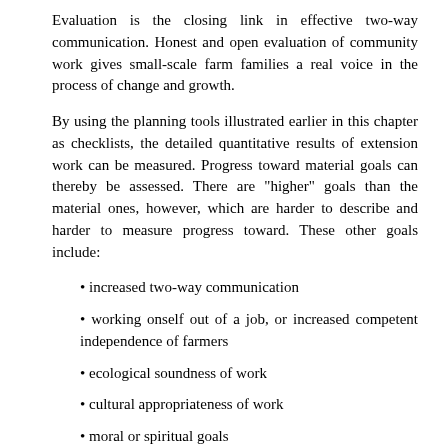Evaluation is the closing link in effective two-way communication. Honest and open evaluation of community work gives small-scale farm families a real voice in the process of change and growth.
By using the planning tools illustrated earlier in this chapter as checklists, the detailed quantitative results of extension work can be measured. Progress toward material goals can thereby be assessed. There are "higher" goals than the material ones, however, which are harder to describe and harder to measure progress toward. These other goals include:
increased two-way communication
working onself out of a job, or increased competent independence of farmers
ecological soundness of work
cultural appropriateness of work
moral or spiritual goals